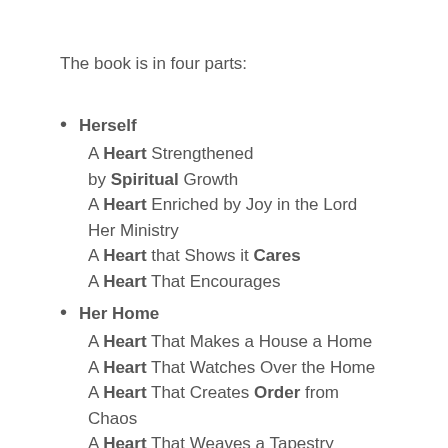The book is in four parts:
Herself
A Heart Strengthened by Spiritual Growth
A Heart Enriched by Joy in the Lord
Her Ministry
A Heart that Shows it Cares
A Heart That Encourages
Her Home
A Heart That Makes a House a Home
A Heart That Watches Over the Home
A Heart That Creates Order from Chaos
A Heart That Weaves a Tapestry